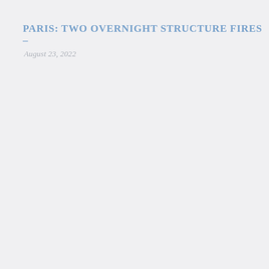PARIS: TWO OVERNIGHT STRUCTURE FIRES –
August 23, 2022